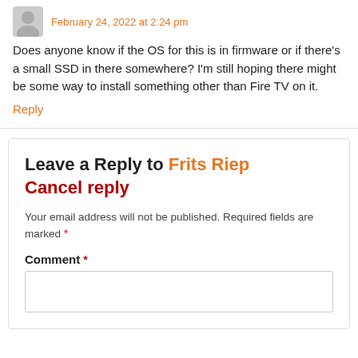February 24, 2022 at 2:24 pm
Does anyone know if the OS for this is in firmware or if there's a small SSD in there somewhere? I'm still hoping there might be some way to install something other than Fire TV on it.
Reply
Leave a Reply to Frits Riep Cancel reply
Your email address will not be published. Required fields are marked *
Comment *